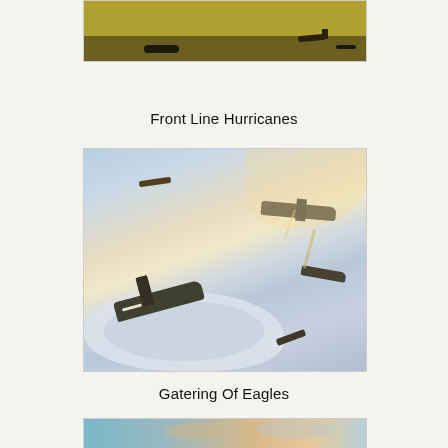[Figure (illustration): Partial top of a WWII airfield painting showing aircraft on grass field, cropped at top of page]
Front Line Hurricanes
[Figure (illustration): WWII aerial combat painting showing multiple aircraft including Hurricanes in dogfight above clouds, warm sky tones]
Gatering Of Eagles
[Figure (illustration): Partial bottom painting showing aerial scene, cropped at bottom of page]